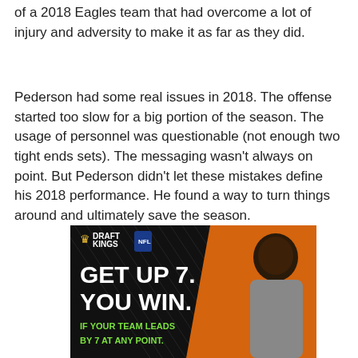of a 2018 Eagles team that had overcome a lot of injury and adversity to make it as far as they did.
Pederson had some real issues in 2018. The offense started too slow for a big portion of the season. The usage of personnel was questionable (not enough two tight ends sets). The messaging wasn't always on point. But Pederson didn't let these mistakes define his 2018 performance. He found a way to turn things around and ultimately save the season.
[Figure (photo): DraftKings NFL advertisement featuring a smiling man in a gray shirt against an orange background with diagonal line pattern. Text reads 'GET UP 7. YOU WIN. IF YOUR TEAM LEADS BY 7 AT ANY POINT.' with DraftKings and NFL logos.]